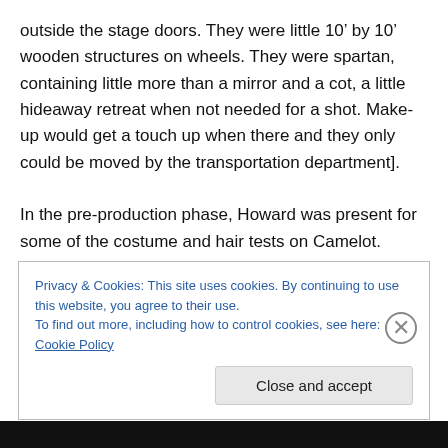outside the stage doors. They were little 10' by 10' wooden structures on wheels. They were spartan, containing little more than a mirror and a cot, a little hideaway retreat when not needed for a shot. Make-up would get a touch up when there and they only could be moved by the transportation department].
In the pre-production phase, Howard was present for some of the costume and hair tests on Camelot. These were important to keep all the production departments in the loop, especially the art department. Howard cites an
Privacy & Cookies: This site uses cookies. By continuing to use this website, you agree to their use.
To find out more, including how to control cookies, see here: Cookie Policy
Close and accept